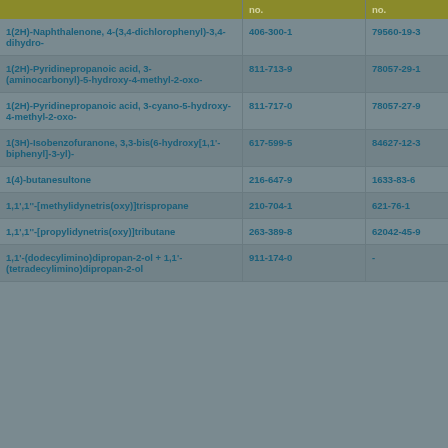|  | no. | no. |
| --- | --- | --- |
| 1(2H)-Naphthalenone, 4-(3,4-dichlorophenyl)-3,4-dihydro- | 406-300-1 | 79560-19-3 |
| 1(2H)-Pyridinepropanoic acid, 3-(aminocarbonyl)-5-hydroxy-4-methyl-2-oxo- | 811-713-9 | 78057-29-1 |
| 1(2H)-Pyridinepropanoic acid, 3-cyano-5-hydroxy-4-methyl-2-oxo- | 811-717-0 | 78057-27-9 |
| 1(3H)-Isobenzofuranone, 3,3-bis(6-hydroxy[1,1'-biphenyl]-3-yl)- | 617-599-5 | 84627-12-3 |
| 1(4)-butanesultone | 216-647-9 | 1633-83-6 |
| 1,1',1''-[methylidynetris(oxy)]trispropane | 210-704-1 | 621-76-1 |
| 1,1',1''-[propylidynetris(oxy)]tributane | 263-389-8 | 62042-45-9 |
| 1,1'-(dodecylimino)dipropan-2-ol + 1,1'-(tetradecylimino)dipropan-2-ol | 911-174-0 | - |